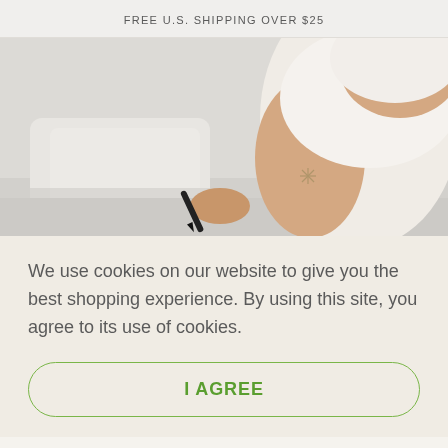FREE U.S. SHIPPING OVER $25
[Figure (photo): Photo of a person in a white shirt holding a pen, with a small tattoo visible on their arm, sitting near white pillows on a bed]
We use cookies on our website to give you the best shopping experience. By using this site, you agree to its use of cookies.
I AGREE